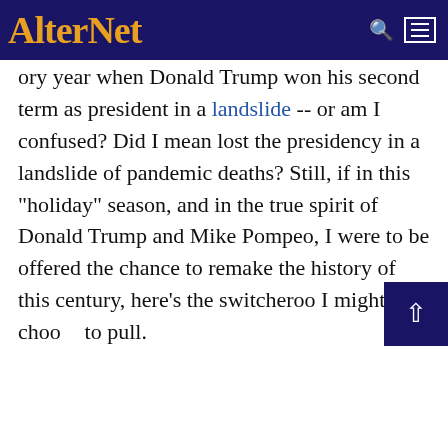AlterNet
ory year when Donald Trump won his second term as president in a landslide -- or am I confused? Did I mean lost the presidency in a landslide of pandemic deaths? Still, if in this "holiday" season, and in the true spirit of Donald Trump and Mike Pompeo, I were to be offered the chance to remake the history of this century, here's the switcheroo I might choose to pull.